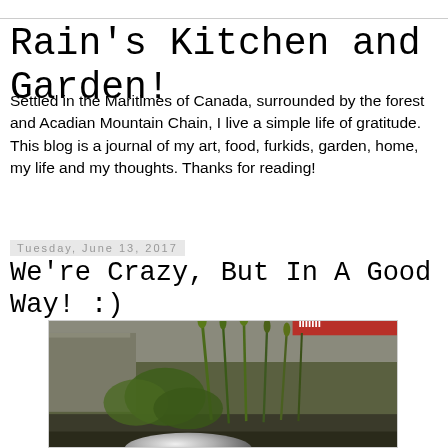Rain's Kitchen and Garden!
Settled in the Maritimes of Canada, surrounded by the forest and Acadian Mountain Chain, I live a simple life of gratitude. This blog is a journal of my art, food, furkids, garden, home, my life and my thoughts. Thanks for reading!
Tuesday, June 13, 2017
We're Crazy, But In A Good Way! :)
[Figure (photo): Outdoor garden photo showing green plants with tall stems, a stone or concrete wall in the background, and a shiny steel bowl in the foreground at the bottom. A small red sign or label is visible in the upper right corner.]